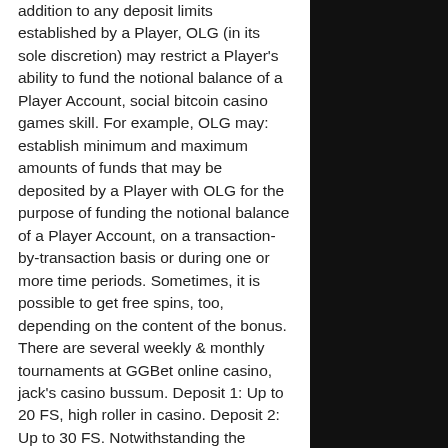addition to any deposit limits established by a Player, OLG (in its sole discretion) may restrict a Player's ability to fund the notional balance of a Player Account, social bitcoin casino games skill. For example, OLG may: establish minimum and maximum amounts of funds that may be deposited by a Player with OLG for the purpose of funding the notional balance of a Player Account, on a transaction-by-transaction basis or during one or more time periods. Sometimes, it is possible to get free spins, too, depending on the content of the bonus. There are several weekly & monthly tournaments at GGBet online casino, jack's casino bussum. Deposit 1: Up to 20 FS, high roller in casino. Deposit 2: Up to 30 FS. Notwithstanding the foregoing, if OLG Deactivates a Player Account as a result of the occurrence of a Material Breach by the Player under this Agreement, OLG (in its sole discretion) shall be entitled to treat any or all of the Unutilized